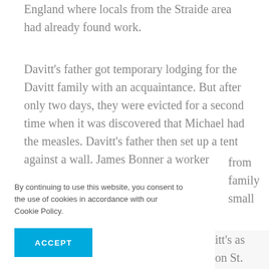England where locals from the Straide area had already found work.
Davitt's father got temporary lodging for the Davitt family with an acquaintance. But after only two days, they were evicted for a second time when it was discovered that Michael had the measles. Davitt's father then set up a tent against a wall. James Bonner a worker from family small
By continuing to use this website, you consent to the use of cookies in accordance with our Cookie Policy.
ACCEPT
itt's as on St.